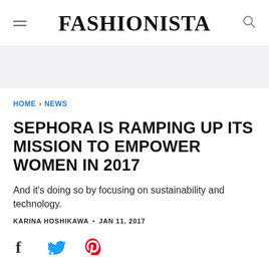FASHIONISTA
HOME > NEWS
SEPHORA IS RAMPING UP ITS MISSION TO EMPOWER WOMEN IN 2017
And it's doing so by focusing on sustainability and technology.
KARINA HOSHIKAWA • JAN 11, 2017
[Figure (other): Social sharing icons: Facebook, Twitter, Pinterest]